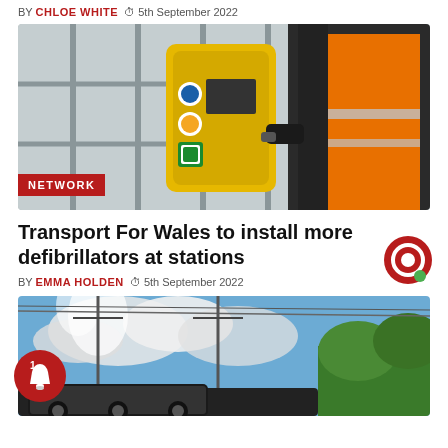BY CHLOE WHITE  5th September 2022
[Figure (photo): Worker in orange hi-vis vest operating a yellow defibrillator mounted on a wall with glass windows in background. Red NETWORK badge in lower left.]
Transport For Wales to install more defibrillators at stations
BY EMMA HOLDEN  5th September 2022
[Figure (photo): Steam locomotive on railway tracks with overhead electrical lines, clouds and green trees in background.]